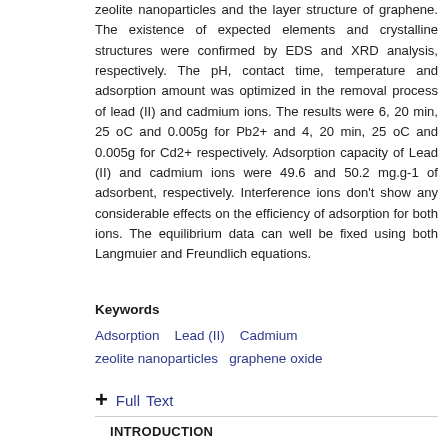zeolite nanoparticles and the layer structure of graphene. The existence of expected elements and crystalline structures were confirmed by EDS and XRD analysis, respectively. The pH, contact time, temperature and adsorption amount was optimized in the removal process of lead (II) and cadmium ions. The results were 6, 20 min, 25 oC and 0.005g for Pb2+ and 4, 20 min, 25 oC and 0.005g for Cd2+ respectively. Adsorption capacity of Lead (II) and cadmium ions were 49.6 and 50.2 mg.g-1 of adsorbent, respectively. Interference ions don't show any considerable effects on the efficiency of adsorption for both ions. The equilibrium data can well be fixed using both Langmuier and Freundlich equations.
Keywords
Adsorption    Lead (II)    Cadmium    zeolite nanoparticles    graphene oxide
+ Full Text
INTRODUCTION
Heavy metal ions such as lead, chromium, zinc, and nickel are known as toxic pollutants of water sources [1-7]. The industrial revolution increases these pollutants in the soil and crops [1,4]. Many industrial activities